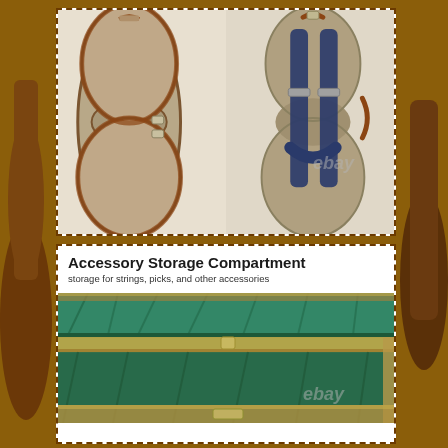[Figure (photo): Product listing image showing a guitar case from multiple angles. Top panel with dashed border shows two views: left view shows front of brown hard-shell guitar case standing upright, right view shows back of the same case with blue/black backpack straps. Bottom panel with dashed border shows text label 'Accessory Storage Compartment' with description 'storage for strings, picks, and other accessories' and a close-up photo of the open case interior lined with teal/green velvet fabric showing compartment dividers. Brown guitar neck visible on left and right edges. eBay watermarks visible on both photos.]